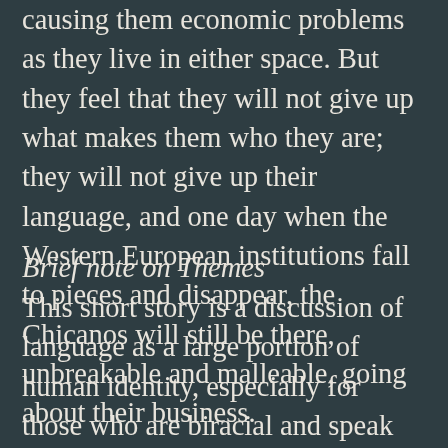causing them economic problems as they live in either space. But they feel that they will not give up what makes them who they are; they will not give up their language, and one day when the Western European institutions fall to pieces and disappear, the Chicanos will still be there, unbreakable and malleable, going about their business.
Brief note on Themes
This short story is a discussion of language as a large portion of human identity, especially for those who are biracial and speak two languages, or an intermediary form between the two languages. Being forced to adhere to another culture's rules, they do not feel welcome anywhere, and even are taught to feel